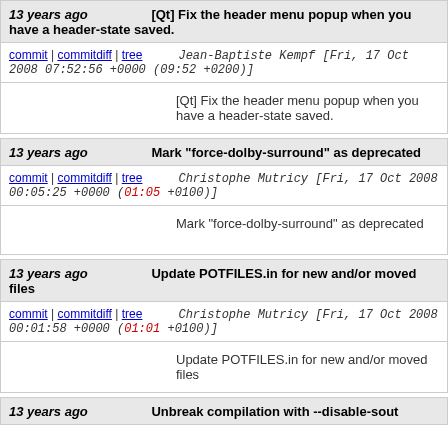13 years ago   [Qt] Fix the header menu popup when you have a header-state saved.
commit | commitdiff | tree   Jean-Baptiste Kempf [Fri, 17 Oct 2008 07:52:56 +0000 (09:52 +0200)]
[Qt] Fix the header menu popup when you have a header-state saved.
13 years ago   Mark "force-dolby-surround" as deprecated
commit | commitdiff | tree   Christophe Mutricy [Fri, 17 Oct 2008 00:05:25 +0000 (01:05 +0100)]
Mark "force-dolby-surround" as deprecated
13 years ago   Update POTFILES.in for new and/or moved files
commit | commitdiff | tree   Christophe Mutricy [Fri, 17 Oct 2008 00:01:58 +0000 (01:01 +0100)]
Update POTFILES.in for new and/or moved files
13 years ago   Unbreak compilation with --disable-sout